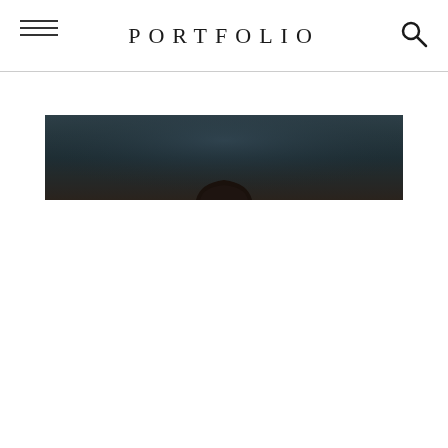PORTFOLIO
[Figure (photo): Partial view of a person's head against a dark teal/dark background, cropped to show only the top portion]